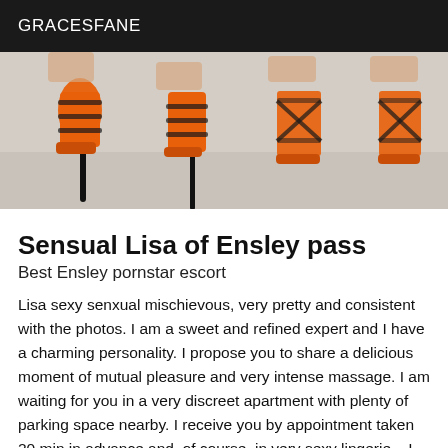GRACESFANE
[Figure (photo): Photo of four pairs of orange strappy high-heel sandals arranged in a row, showing lower legs and feet against a light background.]
Sensual Lisa of Ensley pass
Best Ensley pornstar escort
Lisa sexy senxual mischievous, very pretty and consistent with the photos. I am a sweet and refined expert and I have a charming personality. I propose you to share a delicious moment of mutual pleasure and very intense massage. I am waiting for you in a very discreet apartment with plenty of parking space nearby. I receive you by appointment taken 20 min in advance and, of course, in very sexy lingerie... I attach great importance to hygiene and I expect the same from you. A shower will be at your disposal if you wish. I will be your ideal companion for a moment of massage like no other. It is